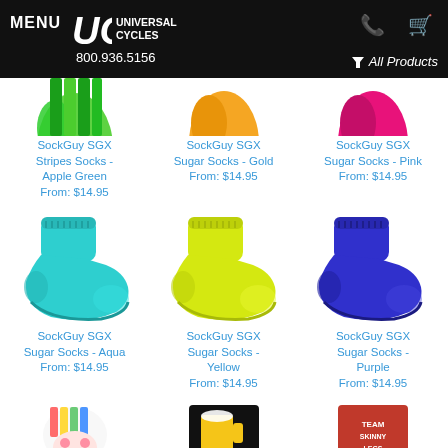MENU | UC Universal Cycles | 800.936.5156 | All Products
[Figure (screenshot): E-commerce product listing page from Universal Cycles showing SockGuy SGX socks in various colors with prices]
SockGuy SGX Stripes Socks - Apple Green
From: $14.95
SockGuy SGX Sugar Socks - Gold
From: $14.95
SockGuy SGX Sugar Socks - Pink
From: $14.95
SockGuy SGX Sugar Socks - Aqua
From: $14.95
SockGuy SGX Sugar Socks - Yellow
From: $14.95
SockGuy SGX Sugar Socks - Purple
From: $14.95